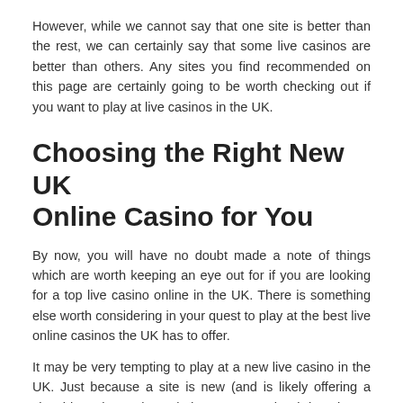However, while we cannot say that one site is better than the rest, we can certainly say that some live casinos are better than others. Any sites you find recommended on this page are certainly going to be worth checking out if you want to play at live casinos in the UK.
Choosing the Right New UK Online Casino for You
By now, you will have no doubt made a note of things which are worth keeping an eye out for if you are looking for a top live casino online in the UK. There is something else worth considering in your quest to play at the best live online casinos the UK has to offer.
It may be very tempting to play at a new live casino in the UK. Just because a site is new (and is likely offering a sizeable welcome bonus) doesn’t mean that it is going to be amongst the best places to play.
Needless to say, a new casino in the UK all the time that...